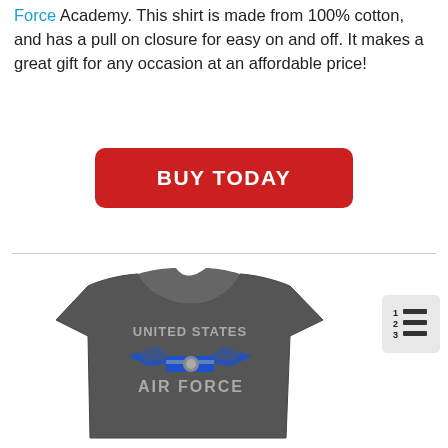Force Academy. This shirt is made from 100% cotton, and has a pull on closure for easy on and off. It makes a great gift for any occasion at an affordable price!
[Figure (other): Red rounded rectangle button with white bold text reading BUY TODAY]
[Figure (photo): Gray United States Air Force t-shirt with blue and gray eagle/wings logo and text UNITED STATES AIR FORCE on the chest]
[Figure (other): Small numbered list icon (1, 2, 3 with lines) in a light gray rounded square in the upper right of the shirt section]